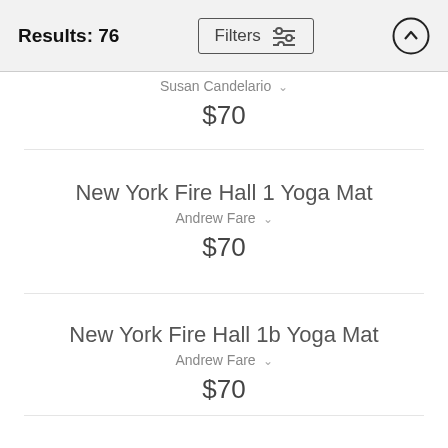Results: 76
Susan Candelario
$70
New York Fire Hall 1 Yoga Mat
Andrew Fare
$70
New York Fire Hall 1b Yoga Mat
Andrew Fare
$70